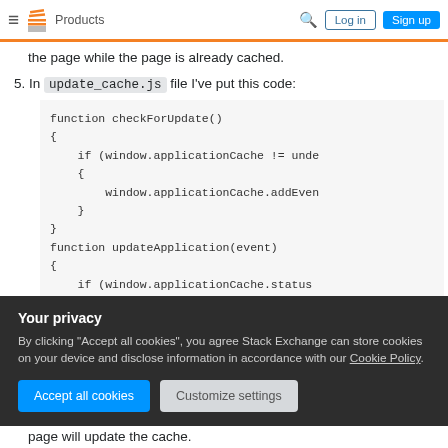Stack Exchange navigation bar with hamburger menu, logo, Products link, search icon, Log in and Sign up buttons
the page while the page is already cached.
5. In update_cache.js file I've put this code:
[Figure (screenshot): Code block showing JavaScript functions: function checkForUpdate() { if (window.applicationCache != unde { window.applicationCache.addEven } } function updateApplication(event) { if (window.applicationCache.status]
Your privacy
By clicking "Accept all cookies", you agree Stack Exchange can store cookies on your device and disclose information in accordance with our Cookie Policy.
Accept all cookies   Customize settings
page will update the cache.